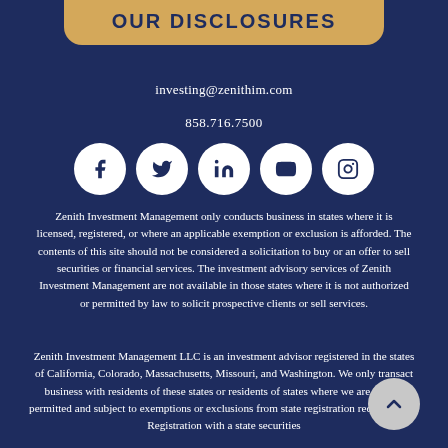OUR DISCLOSURES
investing@zenithim.com
858.716.7500
[Figure (infographic): Five social media icons in white circles: Facebook, Twitter, LinkedIn, YouTube, Instagram]
Zenith Investment Management only conducts business in states where it is licensed, registered, or where an applicable exemption or exclusion is afforded. The contents of this site should not be considered a solicitation to buy or an offer to sell securities or financial services. The investment advisory services of Zenith Investment Management are not available in those states where it is not authorized or permitted by law to solicit prospective clients or sell services.
Zenith Investment Management LLC is an investment advisor registered in the states of California, Colorado, Massachusetts, Missouri, and Washington. We only transact business with residents of these states or residents of states where we are legally permitted and subject to exemptions or exclusions from state registration requirements. Registration with a state securities